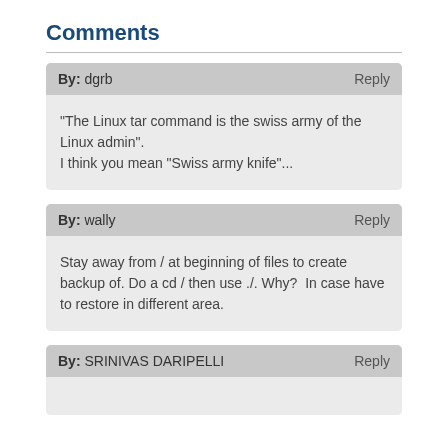Comments
By: dgrb   Reply
"The Linux tar command is the swiss army of the Linux admin".
I think you mean "Swiss army knife"...
By: wally   Reply
Stay away from / at beginning of files to create backup of. Do a cd / then use ./. Why?  In case have to restore in different area.
By: SRINIVAS DARIPELLI   Reply